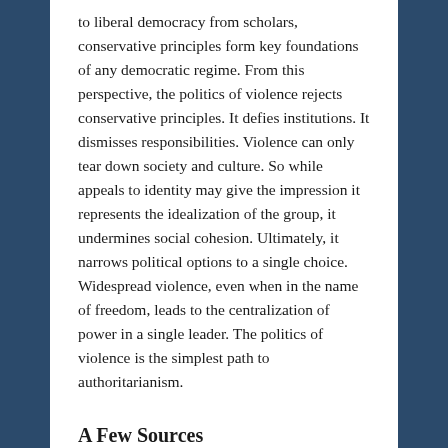to liberal democracy from scholars, conservative principles form key foundations of any democratic regime. From this perspective, the politics of violence rejects conservative principles. It defies institutions. It dismisses responsibilities. Violence can only tear down society and culture. So while appeals to identity may give the impression it represents the idealization of the group, it undermines social cohesion. Ultimately, it narrows political options to a single choice. Widespread violence, even when in the name of freedom, leads to the centralization of power in a single leader. The politics of violence is the simplest path to authoritarianism.
A Few Sources
Erica Chenoweth (2021). Civil Resistance: What